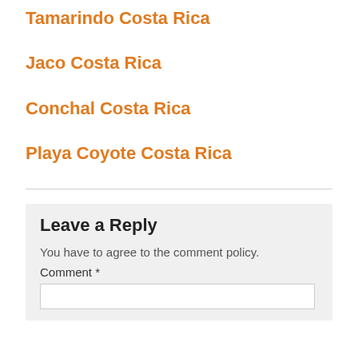Tamarindo Costa Rica
Jaco Costa Rica
Conchal Costa Rica
Playa Coyote Costa Rica
Leave a Reply
You have to agree to the comment policy.
Comment *